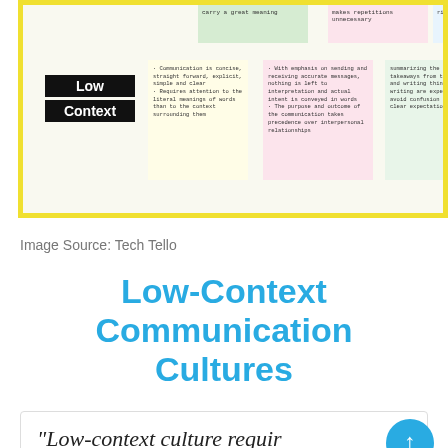[Figure (infographic): Infographic showing 'Low Context' label in black with surrounding sticky notes describing low-context communication characteristics: concise, straight-forward, explicit, simple and clear; requires attention to literal meanings; with emphasis on sending and receiving accurate messages; the purpose and outcome of the communication takes precedence over interpersonal relationships; summarizing the key takeaways from the meeting and writing things down in writing are expected to avoid confusion and set clear expectations; individual context of high context as lazy/secretive/transparent/communicative.]
Image Source: Tech Tello
Low-Context Communication Cultures
“Low-context culture requires